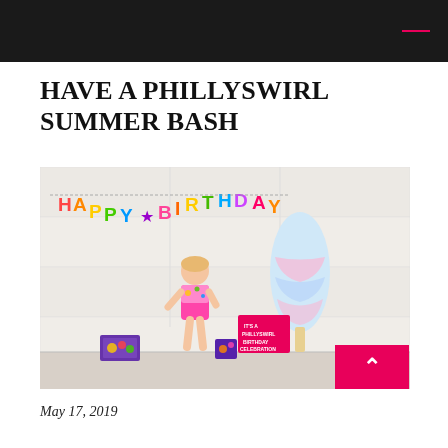HAVE A PHILLYSWIRL SUMMER BASH
[Figure (photo): A young toddler girl standing in front of a white garage door with a colorful HAPPY BIRTHDAY banner hanging above her. She is wearing a colorful swimsuit. To her right is a large pastel-colored stuffed popsicle prop and a hot-pink sign reading IT'S A PHILLYSWIRL BIRTHDAY CELEBRATION. There are Phillyswirl branded boxes on the ground. A hot pink back-to-top button with an upward chevron is overlaid in the bottom right corner.]
May 17, 2019